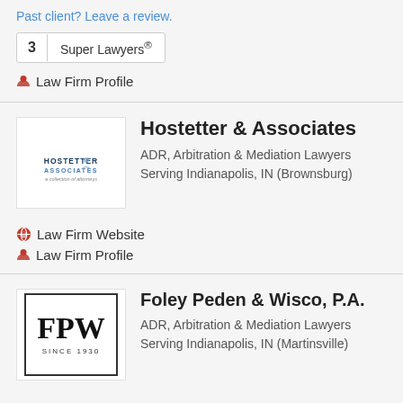Past client? Leave a review.
3  Super Lawyers®
🙍 Law Firm Profile
Hostetter & Associates
ADR, Arbitration & Mediation Lawyers Serving Indianapolis, IN (Brownsburg)
[Figure (logo): Hostetter Associates law firm logo with text HOSTETTER ASSOCIATES and subtitle 'a collection of attorneys']
🌐 Law Firm Website
🙍 Law Firm Profile
Foley Peden & Wisco, P.A.
ADR, Arbitration & Mediation Lawyers Serving Indianapolis, IN (Martinsville)
[Figure (logo): FPW law firm logo with large letters FPW and text SINCE 1930, framed in a rectangle border]